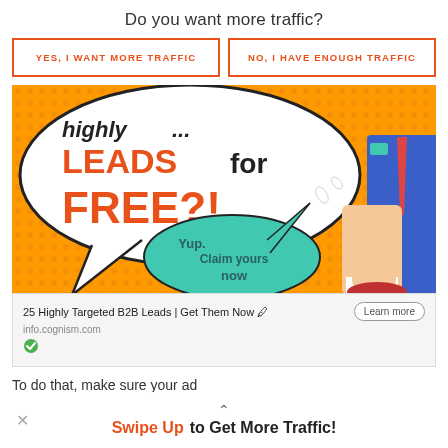Do you want more traffic?
YES, I WANT MORE TRAFFIC
NO, I HAVE ENOUGH TRAFFIC
[Figure (illustration): Comic-style pop art illustration showing a speech bubble saying 'highly... LEADS for FREE?!' in bold red and black text on orange dotted background, with a teal speech bubble saying 'Yup. Claim yours now'. A figure in a blue suit with red tie is visible on the right side.]
25 Highly Targeted B2B Leads | Get Them Now 🖊
info.cognism.com
To do that, make sure your ad
Swipe Up to Get More Traffic!